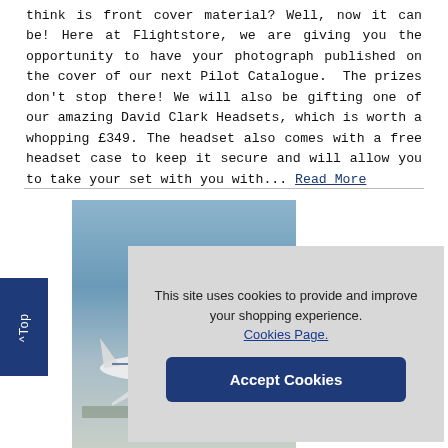think is front cover material? Well, now it can be! Here at Flightstore, we are giving you the opportunity to have your photograph published on the cover of our next Pilot Catalogue.  The prizes don't stop there! We will also be gifting one of our amazing David Clark Headsets, which is worth a whopping £349. The headset also comes with a free headset case to keep it secure and will allow you to take your set with you with... Read More
[Figure (photo): Photograph of an airplane (appears to be a commercial airliner) on the ground or taking off, with blue sky background. Part of a Flightstore promotional photo contest.]
This site uses cookies to provide and improve your shopping experience. Cookies Page.
Accept Cookies